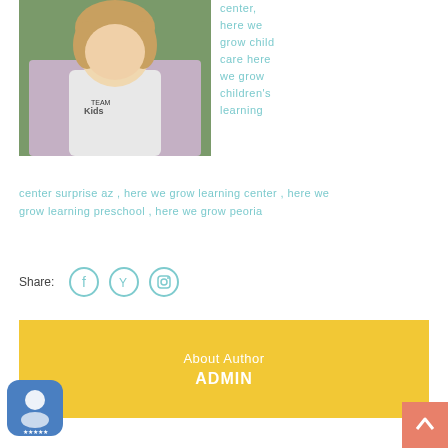[Figure (photo): Photo of a woman wearing a white t-shirt with 'TEAM Kids' logo and a pink/lavender cardigan, outdoors with green background]
center, here we grow child care here we grow children's learning center surprise az, here we grow learning center, here we grow learning preschool, here we grow peoria
Share:
[Figure (infographic): Share buttons: Facebook, Twitter/Y, Instagram icons in teal circle outlines]
About Author
ADMIN
[Figure (logo): Blue badge/award icon with person silhouette and stars at bottom left corner]
[Figure (infographic): Orange scroll-to-top arrow button at bottom right]